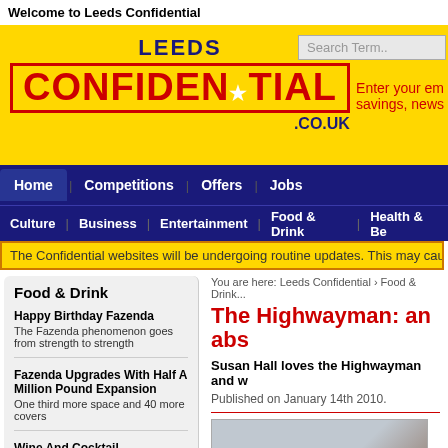Welcome to Leeds Confidential
[Figure (logo): Leeds Confidential .co.uk logo on yellow background with red box around CONFIDENTIAL text]
Enter your email for savings, news...
Home | Competitions | Offers | Jobs
Culture | Business | Entertainment | Food & Drink | Health & Be...
The Confidential websites will be undergoing routine updates. This may cause the...
Food & Drink
Happy Birthday Fazenda
The Fazenda phenomenon goes from strength to strength
Fazenda Upgrades With Half A Million Pound Expansion
One third more space and 40 more covers
Wine And Cocktail Masterclasses On The Menu At Fazenda
Share their passion for high-quality drinks
Italian Christmas and New Year
You are here: Leeds Confidential › Food & Drink...
The Highwayman: an abs...
Susan Hall loves the Highwayman and w...
Published on January 14th 2010.
[Figure (photo): Photo of food/dish at The Highwayman restaurant]